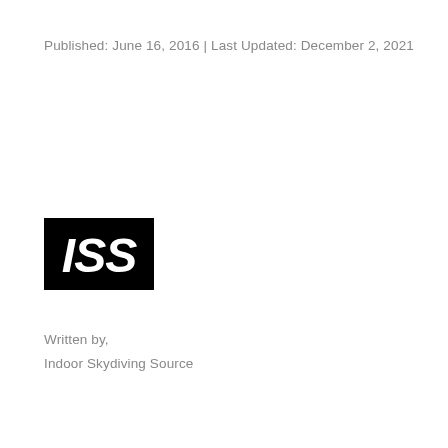Published: June 16, 2016 | Last Updated: December 2, 2021
[Figure (logo): ISS logo — white italic text 'ISS' on a solid black rectangle]
Written by,
Indoor Skydiving Source